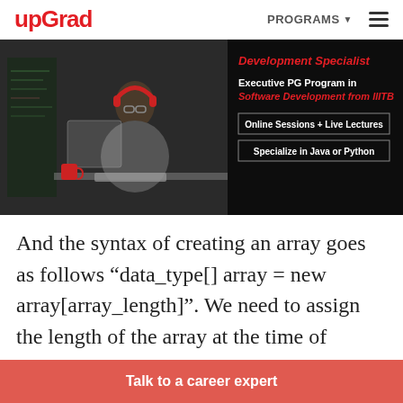[Figure (screenshot): upGrad website header with red logo, PROGRAMS navigation link, and hamburger menu icon]
[Figure (photo): Banner showing a developer working at a computer with headphones, with text about Executive PG Program in Software Development from IIITB, with tags: Online Sessions + Live Lectures, Specialize in Java or Python]
And the syntax of creating an array goes as follows “data_type[] array = new array[array_length]”. We need to assign the length of the array at the time of creating it and the size cannot be increased after creating.
Talk to a career expert